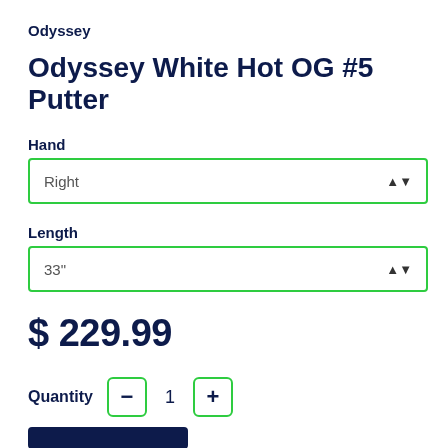Odyssey
Odyssey White Hot OG #5 Putter
Hand
Right
Length
33"
$ 229.99
Quantity  -  1  +